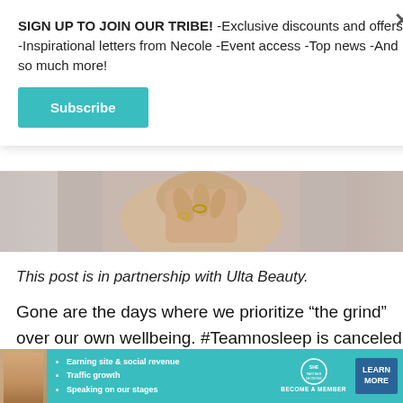SIGN UP TO JOIN OUR TRIBE! -Exclusive discounts and offers -Inspirational letters from Necole -Event access -Top news -And so much more!
Subscribe
[Figure (photo): Close-up photo of a woman's neck and hands with rings touching her neckline, gray background]
This post is in partnership with Ulta Beauty.
Gone are the days where we prioritize “the grind” over our own wellbeing. #Teamnosleep is canceled. Millennial women are prioritizing themselves and their rest above all else, and we love to see it. We’re
[Figure (infographic): SHE Media Partner Network advertisement banner with woman photo, bullet points: Earning site & social revenue, Traffic growth, Speaking on our stages. SHE PARTNER NETWORK BECOME A MEMBER logo. LEARN MORE button in dark blue.]